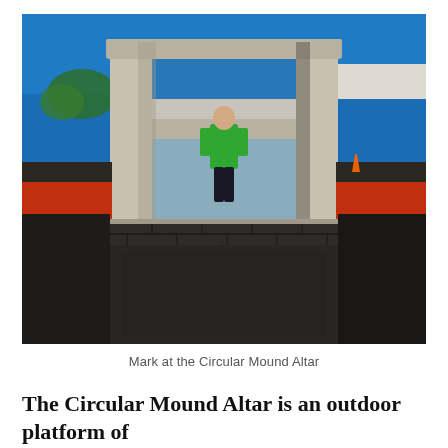[Figure (photo): A person wearing a green jacket stands framed in an ornate stone gate/archway at the Circular Mound Altar in Beijing. Behind the person are white marble balustrades and tiered platforms. In the foreground is a large expanse of worn dark grey stone brickwork paving. The walls to the sides are deep red. The sky is bright blue.]
Mark at the Circular Mound Altar
The Circular Mound Altar is an outdoor platform of